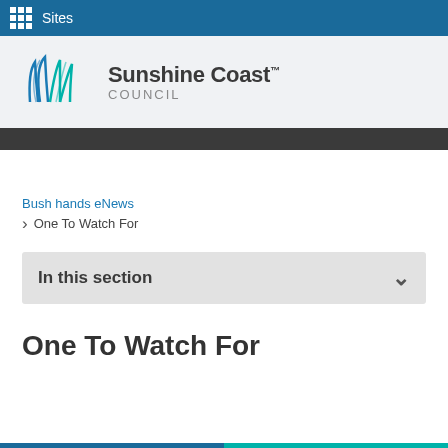Sites
[Figure (logo): Sunshine Coast Council logo with wave/grass graphic in teal and blue, followed by text 'Sunshine Coast™ COUNCIL']
Bush hands eNews
One To Watch For
In this section
One To Watch For